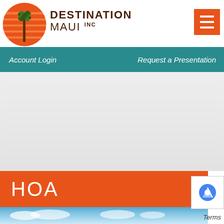[Figure (logo): Destination Maui Inc logo with orange sun and palm tree circle, dark brown text reading DESTINATION MAUI INC]
Account Login   Request a Presentation
[Figure (photo): Gray/white background content area, placeholder for main website content]
HOA
[Figure (photo): Blue sky with white clouds at the bottom of the page]